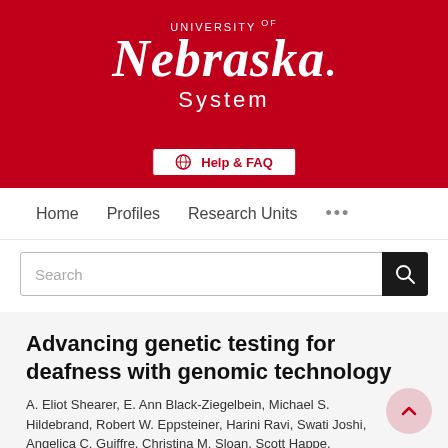[Figure (logo): University of Nebraska System logo — white text on red background, with stylized italic 'Nebraska' wordmark]
[Figure (other): Help & FAQ button with globe icon, white background with red border]
Home   Profiles   Research Units   ...
Search
Advancing genetic testing for deafness with genomic technology
A. Eliot Shearer, E. Ann Black-Ziegelbein, Michael S. Hildebrand, Robert W. Eppsteiner, Harini Ravi, Swati Joshi, Angelica C. Guiffre, Christina M. Sloan, Scott Happe, Susanna D. Howard, Barbara Novak, Adam P. DeLuca, Kyle